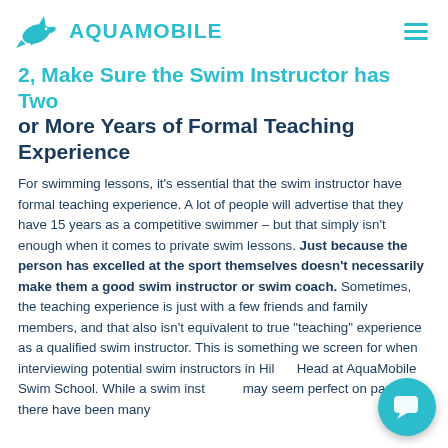AQUAMOBILE
2, Make Sure the Swim Instructor has Two or More Years of Formal Teaching Experience
For swimming lessons, it's essential that the swim instructor have formal teaching experience. A lot of people will advertise that they have 15 years as a competitive swimmer – but that simply isn't enough when it comes to private swim lessons. Just because the person has excelled at the sport themselves doesn't necessarily make them a good swim instructor or swim coach. Sometimes, the teaching experience is just with a few friends and family members, and that also isn't equivalent to true "teaching" experience as a qualified swim instructor. This is something we screen for when interviewing potential swim instructors in Hilton Head at AquaMobile Swim School. While a swim inst... may seem perfect on paper, there have been many